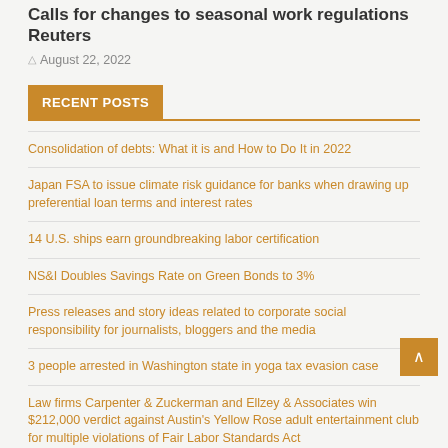Calls for changes to seasonal work regulations Reuters
August 22, 2022
RECENT POSTS
Consolidation of debts: What it is and How to Do It in 2022
Japan FSA to issue climate risk guidance for banks when drawing up preferential loan terms and interest rates
14 U.S. ships earn groundbreaking labor certification
NS&I Doubles Savings Rate on Green Bonds to 3%
Press releases and story ideas related to corporate social responsibility for journalists, bloggers and the media
3 people arrested in Washington state in yoga tax evasion case
Law firms Carpenter & Zuckerman and Ellzey & Associates win $212,000 verdict against Austin's Yellow Rose adult entertainment club for multiple violations of Fair Labor Standards Act